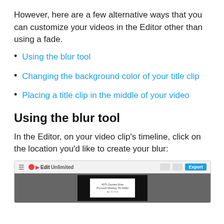However, here are a few alternative ways that you can customize your videos in the Editor other than using a fade.
Using the blur tool
Changing the background color of your title clip
Placing a title clip in the middle of your video
Using the blur tool
In the Editor, on your video clip's timeline, click on the location you'd like to create your blur:
[Figure (screenshot): Screenshot of the EditUnlimited video editor interface showing a timeline and a video clip with an address card visible.]